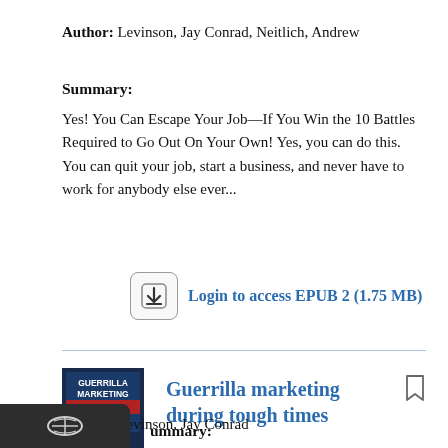Author: Levinson, Jay Conrad, Neitlich, Andrew
Summary:
Yes! You Can Escape Your Job—If You Win the 10 Battles Required to Go Out On Your Own! Yes, you can do this. You can quit your job, start a business, and never have to work for anybody else ever...
[Figure (other): Download button: Login to access EPUB 2 (1.75 MB)]
[Figure (illustration): Book cover of Guerrilla Marketing During Tough Times by Jay Conrad Levinson]
Guerrilla marketing during tough times
Author: Levinson, Jay Conrad
Summary: